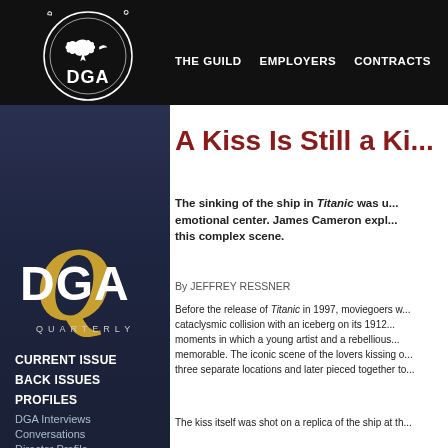[Figure (logo): Directors Guild of America DGA circular eagle logo in white on black background, with navigation links: THE GUILD, EMPLOYERS, CONTRACTS, NEW...]
[Figure (logo): DGA Quarterly logo with large gold Q and white DGA text, QUARTERLY in small letters below]
THE GUILD    EMPLOYERS    CONTRACTS    NEW...
CURRENT ISSUE
BACK ISSUES
PROFILES
DGA Interviews
Conversations
Director Profile
Gen Next
At Work With
Independent Voice
Collaborators
A Kiss Is Still a Ki...
The sinking of the ship in Titanic was u... emotional center. James Cameron expl... this complex scene.
By JEFFREY RESSNER
Before the release of Titanic in 1997, moviegoers w... cataclysmic collision with an iceberg on its 1912... moments in which a young artist and a rebellious... memorable. The iconic scene of the lovers kissing o... three separate locations and later pieced together to...
The kiss itself was shot on a replica of the ship at th...